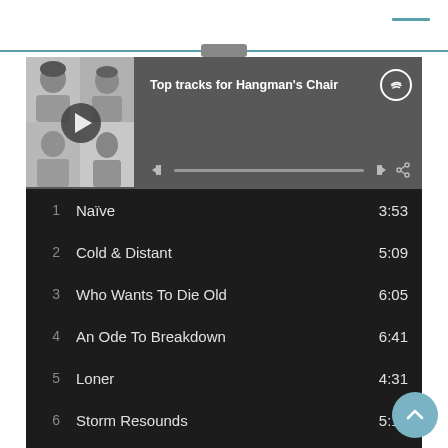[Figure (screenshot): Spotify-style music player header showing 'Top tracks for Hangman's Chair' with album art (band photo grid) and playback controls]
1  Naïve  3:53
2  Cold & Distant  5:09
3  Who Wants To Die Old  6:05
4  An Ode To Breakdown  6:41
5  Loner  4:31
6  Storm Resounds  5:15
7  Supreme  6:59
8  Judge Penitent  7:21
9  04/09/16
10  Pariah And The Plague  4:00